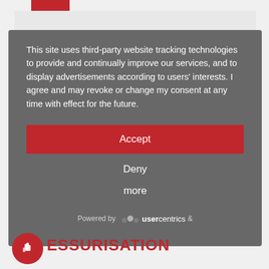This site uses third-party website tracking technologies to provide and continually improve our services, and to display advertisements according to users' interests. I agree and may revoke or change my consent at any time with effect for the future.
Accept
Deny
more
Powered by usercentrics &
ESSURISATION